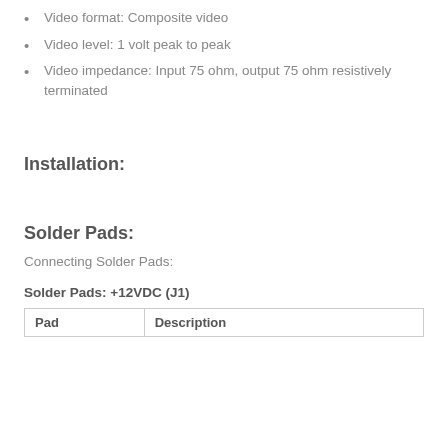Video format: Composite video
Video level: 1 volt peak to peak
Video impedance: Input 75 ohm, output 75 ohm resistively terminated
Installation:
Solder Pads:
Connecting Solder Pads:
Solder Pads: +12VDC (J1)
| Pad | Description |
| --- | --- |